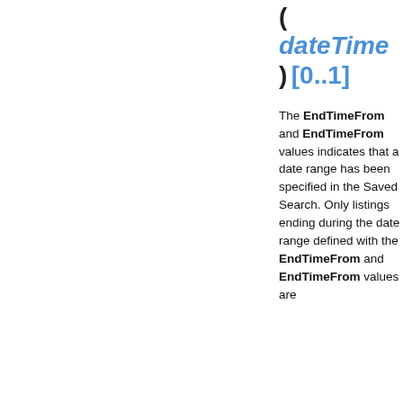( dateTime ) [0..1]
The EndTimeFrom and EndTimeFrom values indicates that a date range has been specified in the Saved Search. Only listings ending during the date range defined with the EndTimeFrom and EndTimeFrom values are